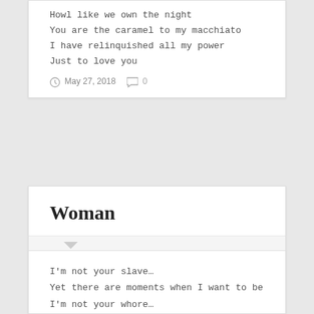Howl like we own the night
You are the caramel to my macchiato
I have relinquished all my power
Just to love you
May 27, 2018   0
Woman
I'm not your slave…
Yet there are moments when I want to be
I'm not your whore…
Yet there are moments when I want you to
treat me as such